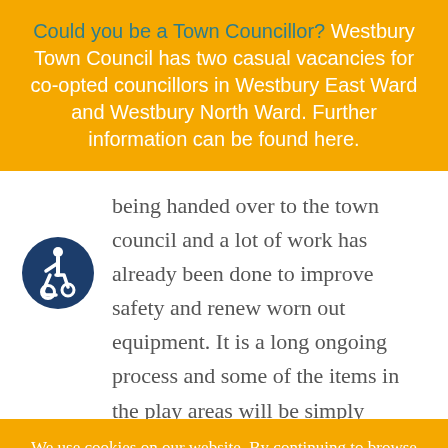Could you be a Town Councillor? Westbury Town Council has two casual vacancies for co-opted councillors in Westbury East Ward and Westbury North Ward. Further information can be found here.
being handed over to the town council and a lot of work has already been done to improve safety and renew worn out equipment. It is a long ongoing process and some of the items in the play areas will be simply replaced but others are still
[Figure (illustration): Accessibility icon: white wheelchair user symbol on dark blue circle background]
We use cookies on our website. By continuing to browse our site, you are agreeing to our use of cookies. Find more about our cookies.